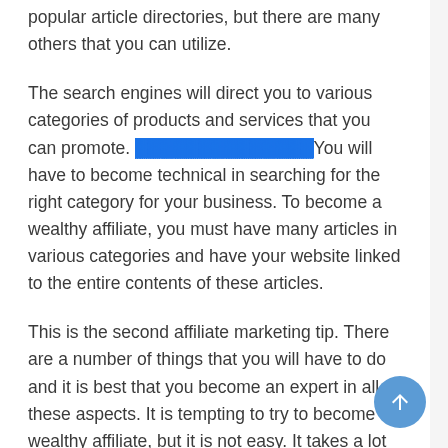popular article directories, but there are many others that you can utilize.
The search engines will direct you to various categories of products and services that you can promote. [link]You will have to become technical in searching for the right category for your business. To become a wealthy affiliate, you must have many articles in various categories and have your website linked to the entire contents of these articles.
This is the second affiliate marketing tip. There are a number of things that you will have to do and it is best that you become an expert in all these aspects. It is tempting to try to become a wealthy affiliate, but it is not easy. It takes a lot of time to become successful, but it can be done.